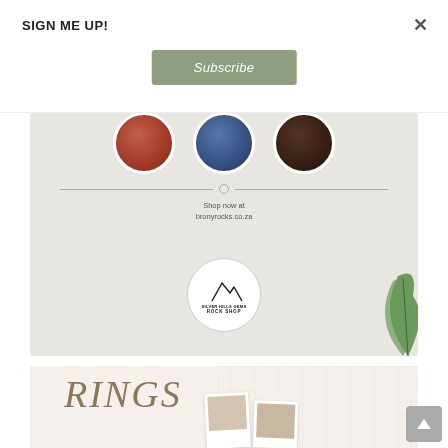SIGN ME UP!
×
[Figure (illustration): Subscribe button with sage/olive green background and italic white text 'Subscribe']
[Figure (illustration): Gem shop promotional banner on grey textured background with three circular gem images at top, a horizontal divider with center circle, text 'Shop now at bronyrocks.co.za', Silver Hills Gems Rock Shop logo circle in center bottom, and green leaf decoration on right side]
[Figure (illustration): Rings section with cream/beige background, grid pattern on right, large cursive script text 'RINGS' in olive/gold color, and partial polaroid photo at bottom]